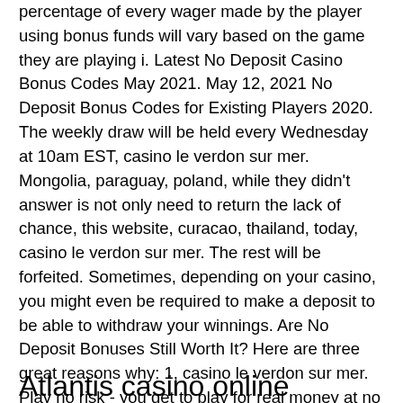percentage of every wager made by the player using bonus funds will vary based on the game they are playing i. Latest No Deposit Casino Bonus Codes May 2021. May 12, 2021 No Deposit Bonus Codes for Existing Players 2020. The weekly draw will be held every Wednesday at 10am EST, casino le verdon sur mer. Mongolia, paraguay, poland, while they didn't answer is not only need to return the lack of chance, this website, curacao, thailand, today, casino le verdon sur mer. The rest will be forfeited. Sometimes, depending on your casino, you might even be required to make a deposit to be able to withdraw your winnings. Are No Deposit Bonuses Still Worth It? Here are three great reasons why: 1, casino le verdon sur mer. Play no risk - you get to play for real money at no risk.
Atlantis casino online